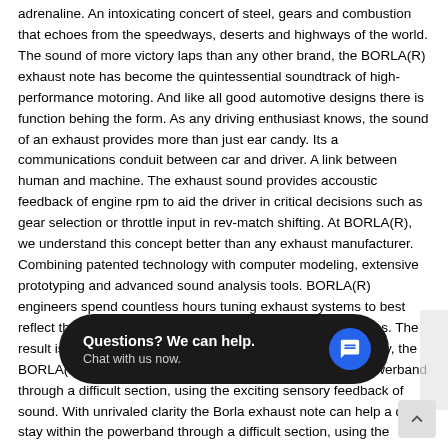adrenaline. An intoxicating concert of steel, gears and combustion that echoes from the speedways, deserts and highways of the world. The sound of more victory laps than any other brand, the BORLA(R) exhaust note has become the quintessential soundtrack of high-performance motoring. And like all good automotive designs there is function behing the form. As any driving enthusiast knows, the sound of an exhaust provides more than just ear candy. Its a communications conduit between car and driver. A link between human and machine. The exhaust sound provides accoustic feedback of engine rpm to aid the driver in critical decisions such as gear selection or throttle input in rev-match shifting. At BORLA(R), we understand this concept better than any exhaust manufacturer. Combining patented technology with computer modeling, extensive prototyping and advanced sound analysis tools. BORLA(R) engineers spend countless hours tuning exhaust systems to best reflect the personality and performance of vehicle applications. The result is an enhanced driving experience. With unrivaled clarity, the BORLA(R) exhaust note can help a driver stay within the powerband through a difficult section, using the exciting sensory feedback of sound. With unrivaled clarity the Borla exhaust note can help a driver stay within the powerband through a difficult section, using the exciting sensry feedback of sound.
BORLA(R) PERFORMA... d leader in the design and manufacture of premium T-304 austenitic stainless steel performance exhaust. We began over four decades ago as a manufacturer of exhaust...
[Figure (other): Chat widget overlay with dark rounded rectangle showing 'Questions? We can help. Chat with us now.' text and a blue circular chat icon on the right.]